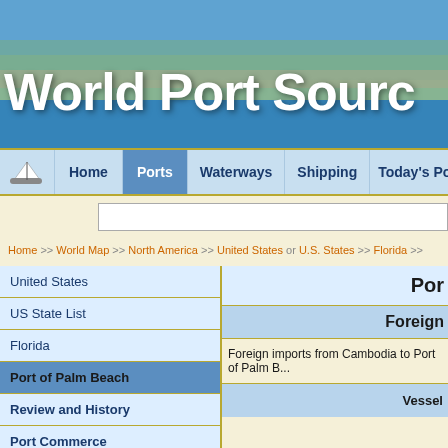[Figure (photo): Aerial photo of a coastal city used as banner background for World Port Source website]
World Port Source
Home | Ports | Waterways | Shipping | Today's Po...
Home >> World Map >> North America >> United States or U.S. States >> Florida >>
United States
US State List
Florida
Port of Palm Beach
Review and History
Port Commerce
Por...
Foreign
Foreign imports from Cambodia to Port of Palm B...
| Vessel |
| --- |